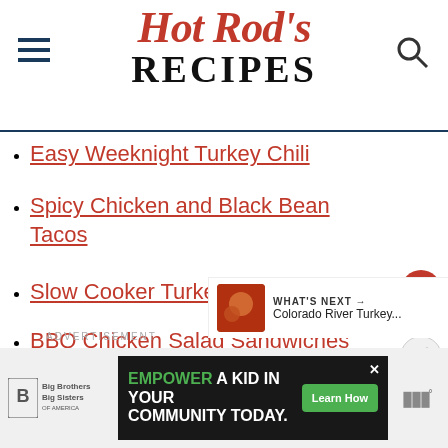Hot Rod's RECIPES
Easy Weeknight Turkey Chili
Spicy Chicken and Black Bean Tacos
Slow Cooker Turkey Pumpkin Chili
BBQ Chicken Salad Sandwiches
ADVERTISEMENT
[Figure (screenshot): Footer advertisement banner: Big Brothers Big Sisters logo, 'EMPOWER A KID IN YOUR COMMUNITY TODAY.' ad with Learn How button, and site logo on right]
WHAT'S NEXT → Colorado River Turkey...